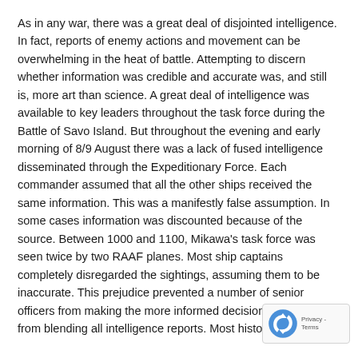As in any war, there was a great deal of disjointed intelligence. In fact, reports of enemy actions and movement can be overwhelming in the heat of battle. Attempting to discern whether information was credible and accurate was, and still is, more art than science. A great deal of intelligence was available to key leaders throughout the task force during the Battle of Savo Island. But throughout the evening and early morning of 8/9 August there was a lack of fused intelligence disseminated through the Expeditionary Force. Each commander assumed that all the other ships received the same information. This was a manifestly false assumption. In some cases information was discounted because of the source. Between 1000 and 1100, Mikawa's task force was seen twice by two RAAF planes. Most ship captains completely disregarded the sightings, assuming them to be inaccurate. This prejudice prevented a number of senior officers from making the more informed decisions which result from blending all intelligence reports. Most historians agree
[Figure (other): reCAPTCHA badge with rotating arrow logo and Privacy - Terms text]